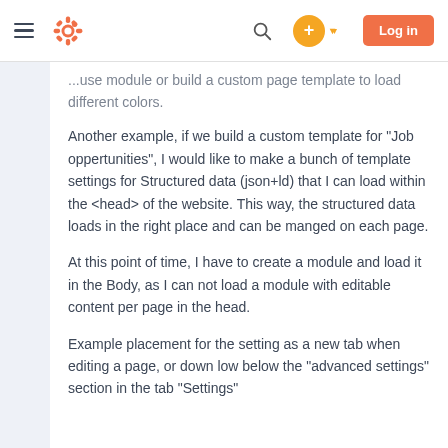HubSpot navigation bar with menu, logo, search, plus button, and Log in button
...use module or build a custom page template to load different colors.
Another example, if we build a custom template for "Job oppertunities", I would like to make a bunch of template settings for Structured data (json+ld) that I can load within the <head> of the website. This way, the structured data loads in the right place and can be manged on each page.
At this point of time, I have to create a module and load it in the Body, as I can not load a module with editable content per page in the head.
Example placement for the setting as a new tab when editing a page, or down low below the "advanced settings" section in the tab "Settings"